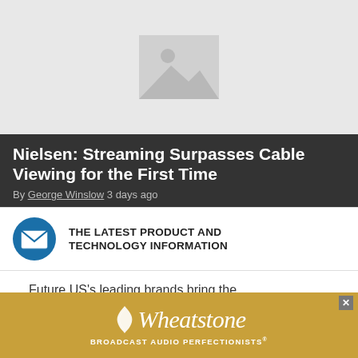[Figure (photo): Placeholder image with grey background and image icon in center]
Nielsen: Streaming Surpasses Cable Viewing for the First Time
By George Winslow 3 days ago
[Figure (infographic): Newsletter signup bar with envelope icon and text: THE LATEST PRODUCT AND TECHNOLOGY INFORMATION]
Future US's leading brands bring the most important, up-to-date information
[Figure (other): Wheatstone advertisement banner - BROADCAST AUDIO PERFECTIONISTS®]